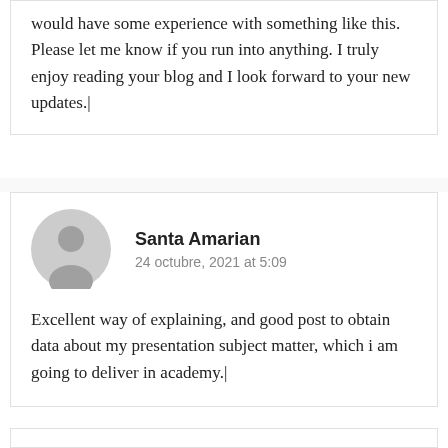would have some experience with something like this. Please let me know if you run into anything. I truly enjoy reading your blog and I look forward to your new updates.|
Santa Amarian
24 octubre, 2021 at 5:09
Excellent way of explaining, and good post to obtain data about my presentation subject matter, which i am going to deliver in academy.|